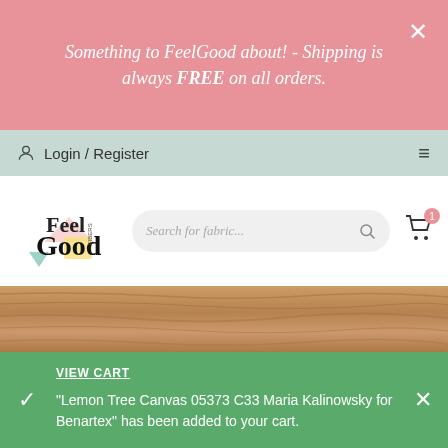Something to FeelGood about! - Shipping is always FREE on all orders.
Login / Register
[Figure (logo): Feel Good Fibers logo with colorful geometric shapes]
Search for fabric...
[Figure (photo): Wood grain texture banner]
VIEW CART
“Lemon Tree Canvas 05373 C33 Maria Kalinowsky for Benartex” has been added to your cart.